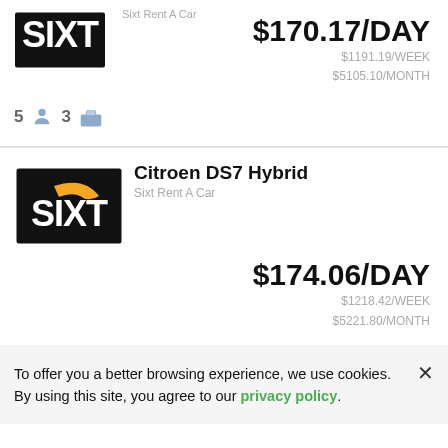[Figure (logo): Sixt Rent A Car logo (top, partial card)]
Sixt Rent A Car
$170.17/DAY
$1191.19/WEEK
$5105.10/MONTH
5 [person icon] 3 [bag icon]
[Figure (logo): Sixt Rent A Car logo (second card)]
Citroen DS7 Hybrid
Sixt Rent A Car
$174.06/DAY
$1218.42/WEEK
$5221.80/MONTH
To offer you a better browsing experience, we use cookies. By using this site, you agree to our privacy policy.